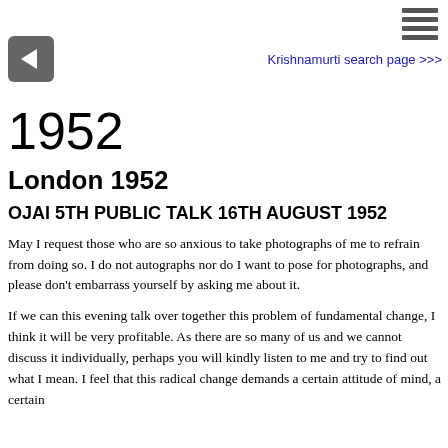[Figure (other): Hamburger menu icon (three horizontal lines) in top right]
[Figure (other): Back arrow button (left-pointing arrow in dark rounded square)]
Krishnamurti search page >>>
1952
London 1952
OJAI 5TH PUBLIC TALK 16TH AUGUST 1952
May I request those who are so anxious to take photographs of me to refrain from doing so. I do not autographs nor do I want to pose for photographs, and please don't embarrass yourself by asking me about it.
If we can this evening talk over together this problem of fundamental change, I think it will be very profitable. As there are so many of us and we cannot discuss it individually, perhaps you will kindly listen to me and try to find out what I mean. I feel that this radical change demands a certain attitude of mind, a certain